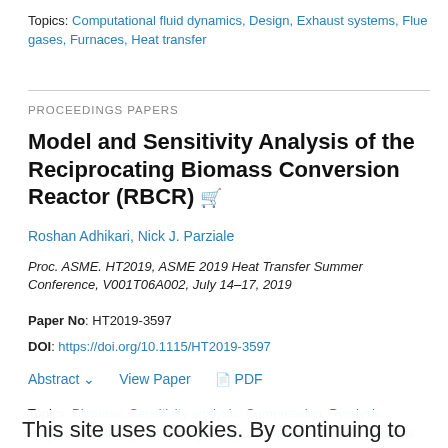Topics: Computational fluid dynamics, Design, Exhaust systems, Flue gases, Furnaces, Heat transfer
PROCEEDINGS PAPERS
Model and Sensitivity Analysis of the Reciprocating Biomass Conversion Reactor (RBCR)
Roshan Adhikari, Nick J. Parziale
Proc. ASME. HT2019, ASME 2019 Heat Transfer Summer Conference, V001T06A002, July 14–17, 2019
Paper No: HT2019-3597
DOI: https://doi.org/10.1115/HT2019-3597
Abstract  View Paper  PDF
Topics: Biomass, Sensitivity analysis, Compression, Pyrolysis, Biogas, Diesel engines, Energy budget (Physics), Exhaust systems, Fluidized beds, Heat
This site uses cookies. By continuing to use our website, you are agreeing to our privacy policy. Accept